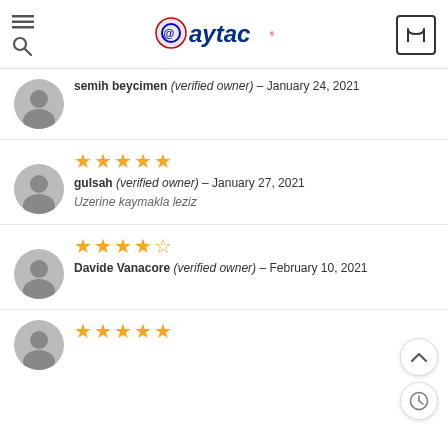@aytac logo with hamburger menu, search icon, and cart icon
semih beycimen (verified owner) – January 24, 2021
[Figure (other): 5 star rating for gulsah review]
gulsah (verified owner) – January 27, 2021
Uzerine kaymakla leziz
[Figure (other): 4 star rating for Davide Vanacore review]
Davide Vanacore (verified owner) – February 10, 2021
[Figure (other): 5 star rating at bottom of page]